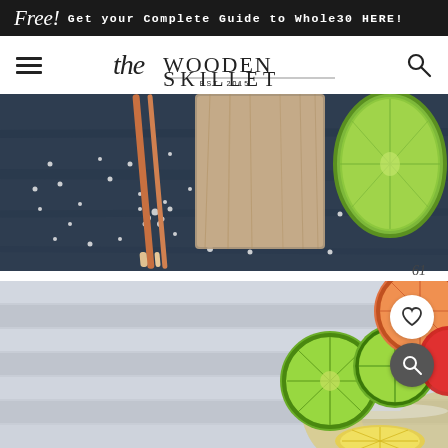Free! Get your Complete Guide to Whole30 HERE!
[Figure (logo): The Wooden Skillet logo with EST. 2015, hamburger menu and search icon]
[Figure (photo): Dark blue wooden surface with salt crystals scattered, chopsticks, wooden block/board, and a halved lime in the upper right corner]
61
[Figure (photo): Light grey/blue background with citrus fruits (lime slices, lemon, grapefruit) in a bowl or plate, with heart and search icon overlays]